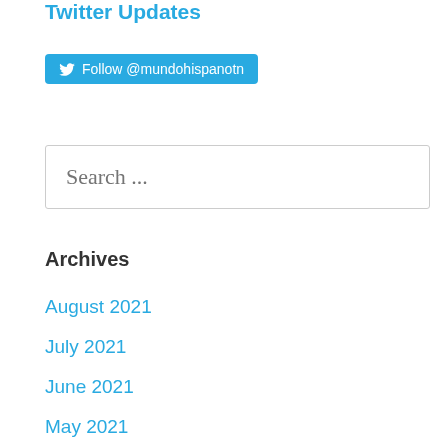Twitter Updates
Follow @mundohispanotn
Search ...
Archives
August 2021
July 2021
June 2021
May 2021